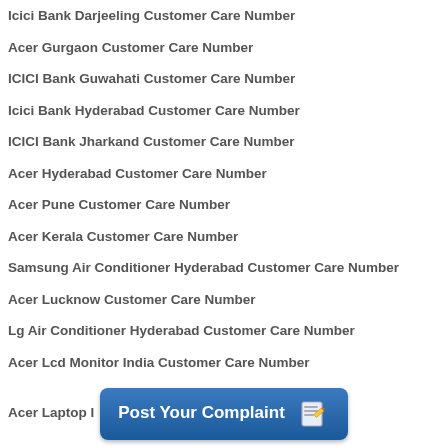Icici Bank Darjeeling Customer Care Number
Acer Gurgaon Customer Care Number
ICICI Bank Guwahati Customer Care Number
Icici Bank Hyderabad Customer Care Number
ICICI Bank Jharkand Customer Care Number
Acer Hyderabad Customer Care Number
Acer Pune Customer Care Number
Acer Kerala Customer Care Number
Samsung Air Conditioner Hyderabad Customer Care Number
Acer Lucknow Customer Care Number
Lg Air Conditioner Hyderabad Customer Care Number
Acer Lcd Monitor India Customer Care Number
Acer Laptop I...
[Figure (other): Post Your Complaint button with pencil/notepad icon]